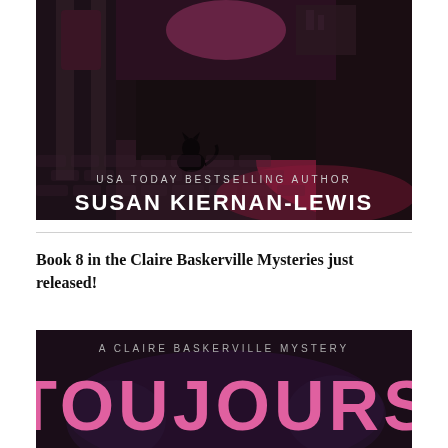[Figure (illustration): Book cover image: dark atmospheric alleyway with red/pink lighting, a black cat sitting on cobblestones, partially visible ornate building in background. Text overlaid reads 'USA TODAY BESTSELLING AUTHOR SUSAN KIERNAN-LEWIS']
Book 8 in the Claire Baskerville Mysteries just released!
[Figure (illustration): Book cover partial image: dark background with pink large text 'TOUJOURS' and subtitle 'A CLAIRE BASKERVILLE MYSTERY' in light gray text above]